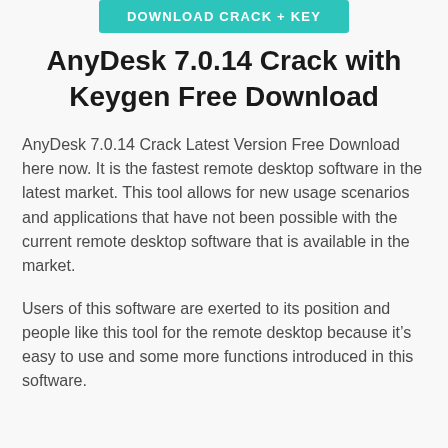[Figure (other): Teal/turquoise button with text 'DOWNLOAD CRACK + KEY' in white uppercase letters]
AnyDesk 7.0.14 Crack with Keygen Free Download
AnyDesk 7.0.14 Crack Latest Version Free Download here now. It is the fastest remote desktop software in the latest market. This tool allows for new usage scenarios and applications that have not been possible with the current remote desktop software that is available in the market.
Users of this software are exerted to its position and people like this tool for the remote desktop because it’s easy to use and some more functions introduced in this software.